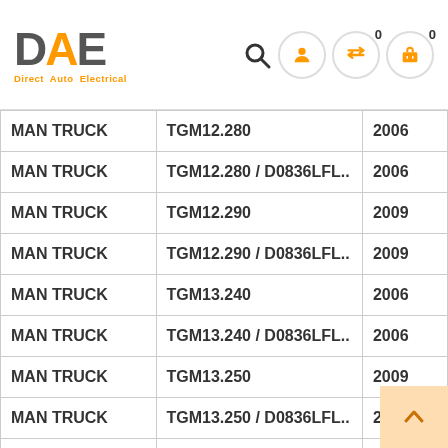DAE Direct Auto Electrical — navigation header with search, user, compare, cart icons
| Make | Model | Year |
| --- | --- | --- |
| MAN TRUCK | TGM12.280 | 2006 |
| MAN TRUCK | TGM12.280 / D0836LFL.. | 2006 |
| MAN TRUCK | TGM12.290 | 2009 |
| MAN TRUCK | TGM12.290 / D0836LFL.. | 2009 |
| MAN TRUCK | TGM13.240 | 2006 |
| MAN TRUCK | TGM13.240 / D0836LFL.. | 2006 |
| MAN TRUCK | TGM13.250 | 2009 |
| MAN TRUCK | TGM13.250 / D0836LFL.. | 2009 |
| MAN TRUCK | TGM13.280 | 2006 |
| MAN TRUCK | TGM13.280 / D0836LFL.. | 2006 |
| MAN TRUCK | TGM13.290 | 2009 |